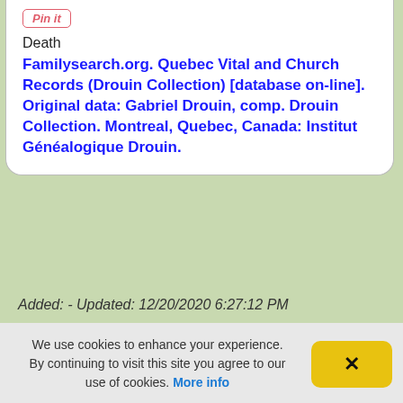[Figure (screenshot): Pin it button (red italic text with border)]
Death
Familysearch.org. Quebec Vital and Church Records (Drouin Collection) [database on-line]. Original data: Gabriel Drouin, comp. Drouin Collection. Montreal, Quebec, Canada: Institut Généalogique Drouin.
Added: - Updated: 12/20/2020 6:27:12 PM
Not the person you are looking for? Try again!
First Name:
We use cookies to enhance your experience. By continuing to visit this site you agree to our use of cookies. More info